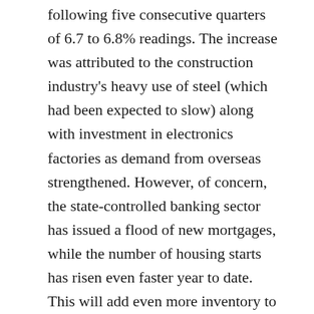following five consecutive quarters of 6.7 to 6.8% readings. The increase was attributed to the construction industry's heavy use of steel (which had been expected to slow) along with investment in electronics factories as demand from overseas strengthened. However, of concern, the state-controlled banking sector has issued a flood of new mortgages, while the number of housing starts has risen even faster year to date. This will add even more inventory to the number of unsold homes at a time when policy makers are already concerned whether the easy availability of mortgages feeding a bubble.
Japanese construction companies are scrambling to hire workers for the surge in building projects ahead of the 2020 Tokyo Olympics. Unfortunately, the nation is already struggling with a declining workforce and the